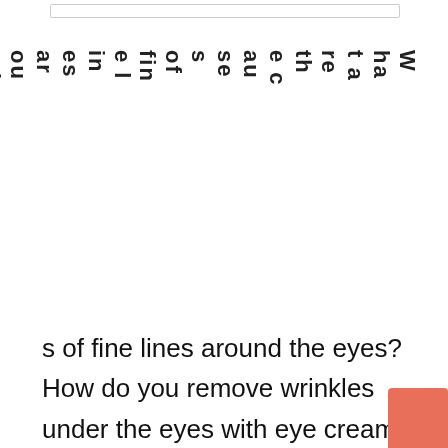What are the causes of fine lines around the eyes? How do you remove wrinkles under the eyes with eye cream? How do you choose the right eye cream for your skin? Korean eye creams are now in fashion.